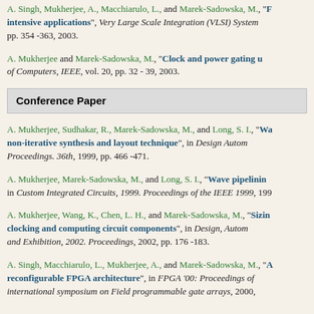A. Singh, Mukherjee, A., Macchiarulo, L., and Marek-Sadowska, M., "FPGAs for intensive applications", Very Large Scale Integration (VLSI) Systems, pp. 354 -363, 2003.
A. Mukherjee and Marek-Sadowska, M., "Clock and power gating", Transactions of Computers, IEEE, vol. 20, pp. 32 - 39, 2003.
Conference Paper
A. Mukherjee, Sudhakar, R., Marek-Sadowska, M., and Long, S. I., "Wave non-iterative synthesis and layout technique", in Design Automation Proceedings. 36th, 1999, pp. 466 -471.
A. Mukherjee, Marek-Sadowska, M., and Long, S. I., "Wave pipelining", in Custom Integrated Circuits, 1999. Proceedings of the IEEE 1999, 1999.
A. Mukherjee, Wang, K., Chen, L. H., and Marek-Sadowska, M., "Sizing clocking and computing circuit components", in Design, Automation and Exhibition, 2002. Proceedings, 2002, pp. 176 -183.
A. Singh, Macchiarulo, L., Mukherjee, A., and Marek-Sadowska, M., "A reconfigurable FPGA architecture", in FPGA '00: Proceedings of the international symposium on Field programmable gate arrays, 2000.